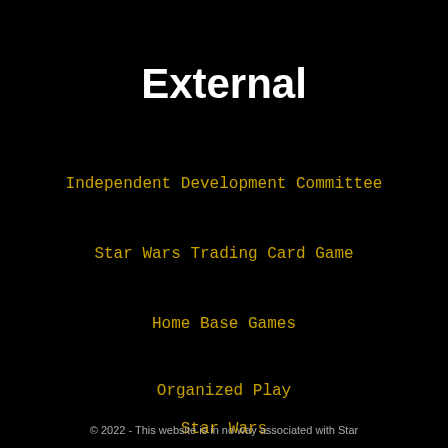External
Independent Development Committee
Star Wars Trading Card Game
Home Base Games
Organized Play
Star Wars
© 2022 - This website is in no way associated with Star